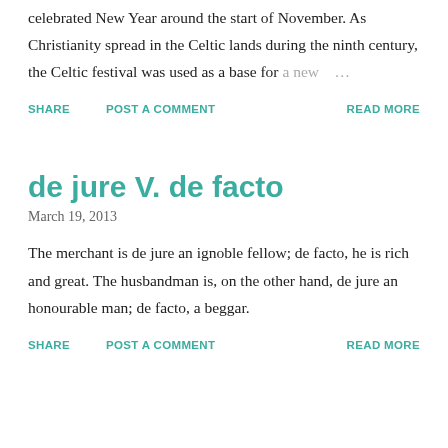celebrated New Year around the start of November. As Christianity spread in the Celtic lands during the ninth century, the Celtic festival was used as a base for a new …
SHARE
POST A COMMENT
READ MORE
de jure V. de facto
March 19, 2013
The merchant is de jure an ignoble fellow; de facto, he is rich and great. The husbandman is, on the other hand, de jure an honourable man; de facto, a beggar.
SHARE
POST A COMMENT
READ MORE